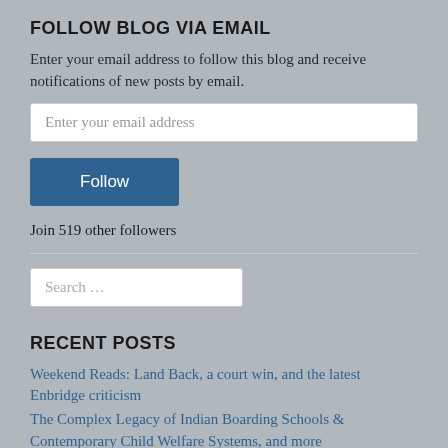FOLLOW BLOG VIA EMAIL
Enter your email address to follow this blog and receive notifications of new posts by email.
RECENT POSTS
Weekend Reads: Land Back, a court win, and the latest Enbridge criticism
The Complex Legacy of Indian Boarding Schools & Contemporary Child Welfare Systems, and more
Native Nations take EPA to court over new and complicated water quality standards